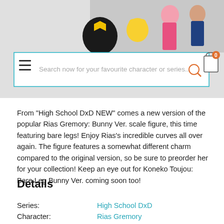[Figure (screenshot): Website header with anime character figures (Pikachu, pink-haired character, dark-haired character) on a grey background with a logo in the center-left area]
[Figure (screenshot): Website navigation with hamburger menu icon on left, search bar with placeholder text 'Search now for your favourite character or series...', and shopping cart icon with '0' badge on right]
From "High School DxD NEW" comes a new version of the popular Rias Gremory: Bunny Ver. scale figure, this time featuring bare legs! Enjoy Rias's incredible curves all over again. The figure features a somewhat different charm compared to the original version, so be sure to preorder her for your collection! Keep an eye out for Koneko Toujou: Bare Leg Bunny Ver. coming soon too!
Details
| Series: | High School DxD |
| Character: | Rias Gremory |